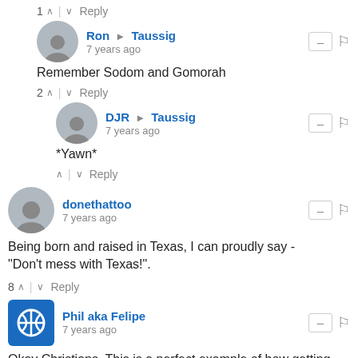1 ∧ | ∨ Reply
Ron → Taussig
7 years ago
Remember Sodom and Gomorah
2 ∧ | ∨ Reply
DJR → Taussig
7 years ago
*Yawn*
∧ | ∨ Reply
donethattoo
7 years ago
Being born and raised in Texas, I can proudly say - "Don't mess with Texas!".
8 ∧ | ∨ Reply
Phil aka Felipe
7 years ago
Okay Christians. This is a perfect example of how getting involved in politics and voting or not voting for the right candidates effect the kind of life you and I live. Compare